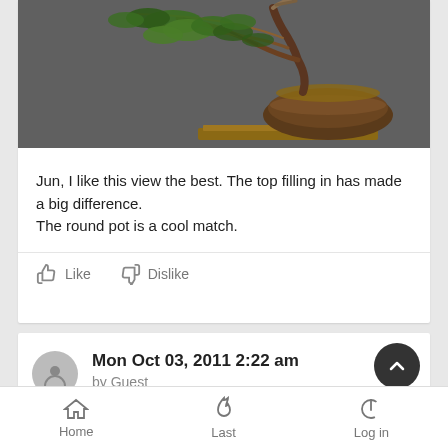[Figure (photo): Bonsai tree with spreading branches in a round dark pot on a wooden stand, against a gray background]
Jun, I like this view the best. The top filling in has made a big difference.
The round pot is a cool match.
Like   Dislike
Mon Oct 03, 2011 2:22 am
by Guest
Home   Last   Log in